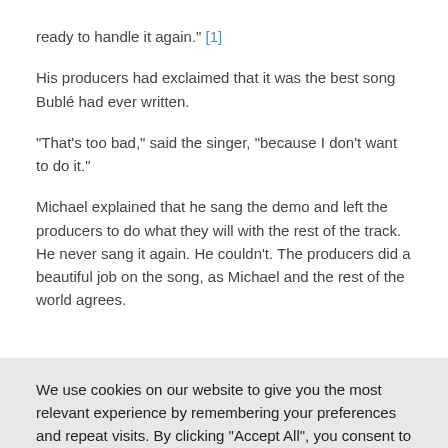ready to handle it again." [1]
His producers had exclaimed that it was the best song Bublé had ever written.
“That’s too bad,” said the singer, “because I don’t want to do it.”
Michael explained that he sang the demo and left the producers to do what they will with the rest of the track. He never sang it again. He couldn’t. The producers did a beautiful job on the song, as Michael and the rest of the world agrees.
We use cookies on our website to give you the most relevant experience by remembering your preferences and repeat visits. By clicking “Accept All”, you consent to the use of ALL the cookies. However, you may visit “Cookie Settings” to provide a controlled consent.